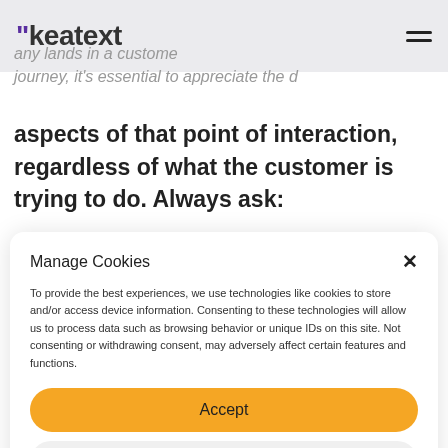keatext
...any lands in a customer journey, it's essential to appreciate the aspects of that point of interaction, regardless of what the customer is trying to do. Always ask:
Manage Cookies
To provide the best experiences, we use technologies like cookies to store and/or access device information. Consenting to these technologies will allow us to process data such as browsing behavior or unique IDs on this site. Not consenting or withdrawing consent, may adversely affect certain features and functions.
Accept
Deny
View preferences
Privacy Policy